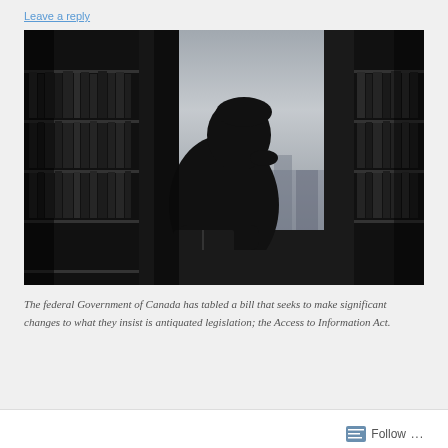Leave a reply
[Figure (photo): Black and white silhouette of a person reading a book in a library aisle between bookshelves, with a large window providing backlight]
The federal Government of Canada has tabled a bill that seeks to make significant changes to what they insist is antiquated legislation; the Access to Information Act.
Follow ...